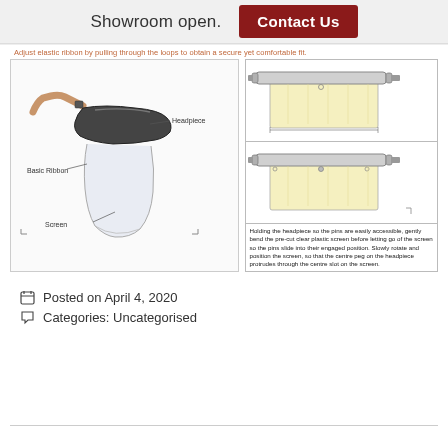Showroom open. Contact Us
Adjust elastic ribbon by pulling through the loops to obtain a secure yet comfortable fit.
[Figure (illustration): Diagram of a face shield showing headpiece, elastic ribbon (Basic Ribbon), and Screen components labeled with leader lines. Adjacent technical drawings showing the headpiece assembly with screen attachment steps.]
Holding the headpiece so the pins are easily accessible, gently bend the pre-cut clear plastic screen before letting go of the screen so the pins slide into their engaged position. Slowly rotate and position the screen, so that the centre peg on the headpiece protrudes through the centre slot on the screen.
Posted on April 4, 2020
Categories: Uncategorised